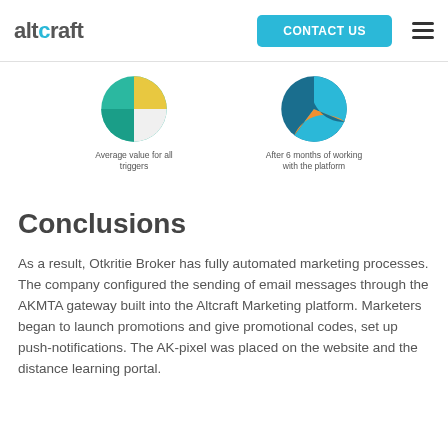altcraft | CONTACT US
[Figure (pie-chart): Partially visible pie chart with teal, yellow-green, and white segments]
Average value for all triggers
[Figure (pie-chart): Partially visible pie chart with teal, blue, and orange segments]
After 6 months of working with the platform
Conclusions
As a result, Otkritie Broker has fully automated marketing processes. The company configured the sending of email messages through the AKMTA gateway built into the Altcraft Marketing platform. Marketers began to launch promotions and give promotional codes, set up push-notifications. The AK-pixel was placed on the website and the distance learning portal.